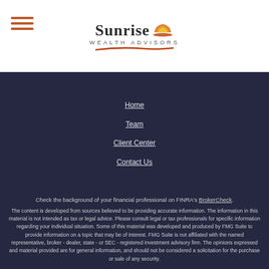[Figure (logo): Sunrise Wealth Advisors logo with stylized sun icon and company name]
Home
Team
Client Center
Contact Us
Check the background of your financial professional on FINRA's BrokerCheck.
The content is developed from sources believed to be providing accurate information. The information in this material is not intended as tax or legal advice. Please consult legal or tax professionals for specific information regarding your individual situation. Some of this material was developed and produced by FMG Suite to provide information on a topic that may be of interest. FMG Suite is not affiliated with the named representative, broker - dealer, state - or SEC - registered investment advisory firm. The opinions expressed and material provided are for general information, and should not be considered a solicitation for the purchase or sale of any security.